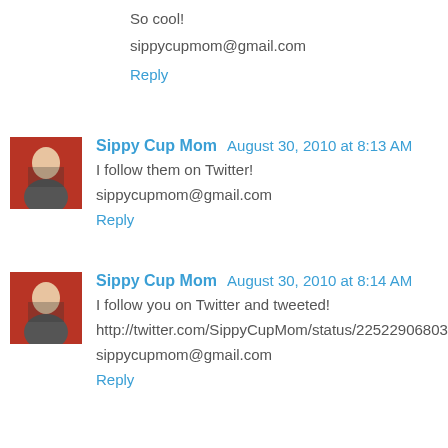So cool!
sippycupmom@gmail.com
Reply
Sippy Cup Mom  August 30, 2010 at 8:13 AM
I follow them on Twitter!
sippycupmom@gmail.com
Reply
Sippy Cup Mom  August 30, 2010 at 8:14 AM
I follow you on Twitter and tweeted!
http://twitter.com/SippyCupMom/status/22522906803
sippycupmom@gmail.com
Reply